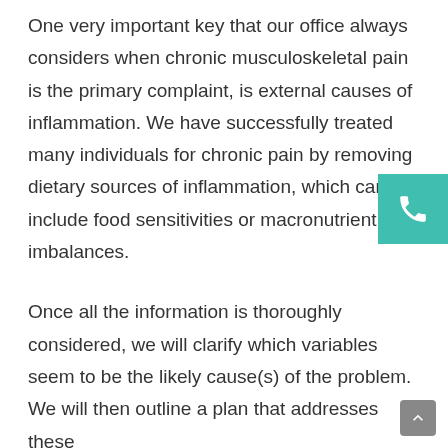One very important key that our office always considers when chronic musculoskeletal pain is the primary complaint, is external causes of inflammation. We have successfully treated many individuals for chronic pain by removing dietary sources of inflammation, which can include food sensitivities or macronutrient imbalances.
Once all the information is thoroughly considered, we will clarify which variables seem to be the likely cause(s) of the problem. We will then outline a plan that addresses these